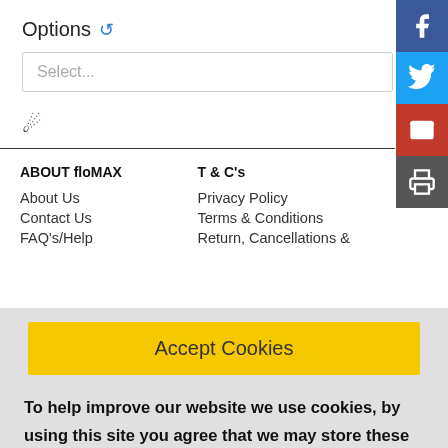Options
Select...
ABOUT floMAX
T & C's
About Us
Contact Us
FAQ's/Help
Privacy Policy
Terms & Conditions
Return, Cancellations &
Accept Cookies
To help improve our website we use cookies, by using this site you agree that we may store these on your device. For more information on what cookies are and why we use them please read our Privacy Policy here.